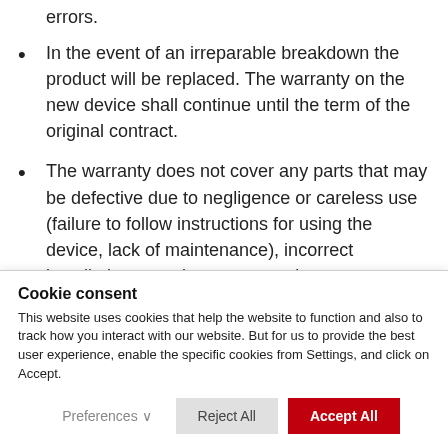In the event of an irreparable breakdown the product will be replaced. The warranty on the new device shall continue until the term of the original contract.
The warranty does not cover any parts that may be defective due to negligence or careless use (failure to follow instructions for using the device, lack of maintenance), incorrect installation or maintenance, maintenance performed by unauthorized personnel, damage incurred in
Cookie consent
This website uses cookies that help the website to function and also to track how you interact with our website. But for us to provide the best user experience, enable the specific cookies from Settings, and click on Accept.